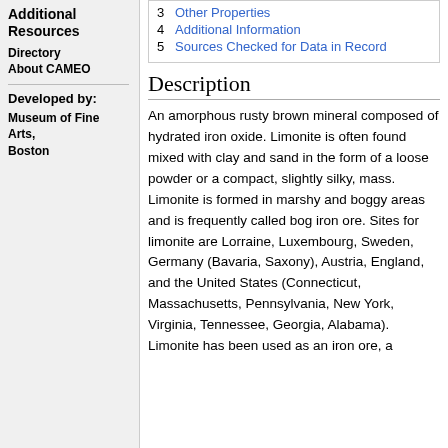Additional Resources
Directory
About CAMEO
Developed by:
Museum of Fine Arts, Boston
3  Other Properties
4  Additional Information
5  Sources Checked for Data in Record
Description
An amorphous rusty brown mineral composed of hydrated iron oxide. Limonite is often found mixed with clay and sand in the form of a loose powder or a compact, slightly silky, mass. Limonite is formed in marshy and boggy areas and is frequently called bog iron ore. Sites for limonite are Lorraine, Luxembourg, Sweden, Germany (Bavaria, Saxony), Austria, England, and the United States (Connecticut, Massachusetts, Pennsylvania, New York, Virginia, Tennessee, Georgia, Alabama). Limonite has been used as an iron ore, a